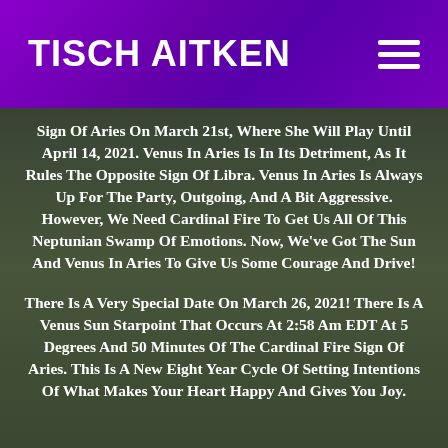TISCH AITKEN
Sign Of Aries On March 21st, Where She Will Play Until April 14, 2021. Venus In Aries Is In Its Detriment, As It Rules The Opposite Sign Of Libra. Venus In Aries Is Always Up For The Party, Outgoing, And A Bit Aggressive. However, We Need Cardinal Fire To Get Us All Of This Neptunian Swamp Of Emotions. Now, We've Got The Sun And Venus In Aries To Give Us Some Courage And Drive!
There Is A Very Special Date On March 26, 2021! There Is A Venus Sun Starpoint That Occurs At 2:58 Am EDT At 5 Degrees And 50 Minutes Of The Cardinal Fire Sign Of Aries. This Is A New Eight Year Cycle Of Setting Intentions Of What Makes Your Heart Happy And Gives You Joy.